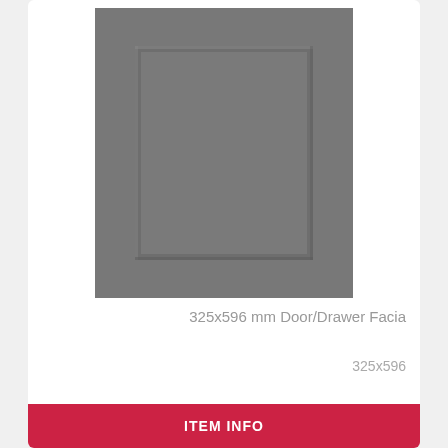[Figure (photo): Grey matt cabinet door/drawer facia with recessed panel, shown from front, portrait orientation]
325x596 mm Door/Drawer Facia
325x596
ITEM INFO